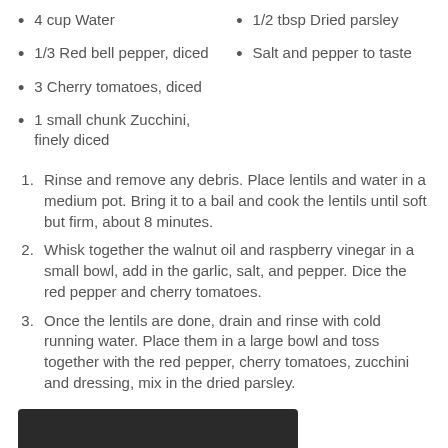4 cup Water
1/3 Red bell pepper, diced
3 Cherry tomatoes, diced
1 small chunk Zucchini, finely diced
1/2 tbsp Dried parsley
Salt and pepper to taste
Rinse and remove any debris. Place lentils and water in a medium pot. Bring it to a bail and cook the lentils until soft but firm, about 8 minutes.
Whisk together the walnut oil and raspberry vinegar in a small bowl, add in the garlic, salt, and pepper. Dice the red pepper and cherry tomatoes.
Once the lentils are done, drain and rinse with cold running water. Place them in a large bowl and toss together with the red pepper, cherry tomatoes, zucchini and dressing, mix in the dried parsley.
[Figure (photo): Dark colored food photo at bottom of page]